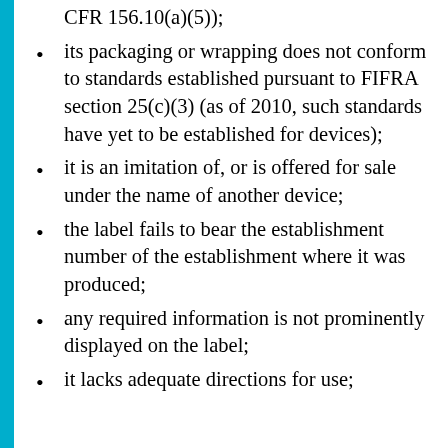CFR 156.10(a)(5));
its packaging or wrapping does not conform to standards established pursuant to FIFRA section 25(c)(3) (as of 2010, such standards have yet to be established for devices);
it is an imitation of, or is offered for sale under the name of another device;
the label fails to bear the establishment number of the establishment where it was produced;
any required information is not prominently displayed on the label;
it lacks adequate directions for use;